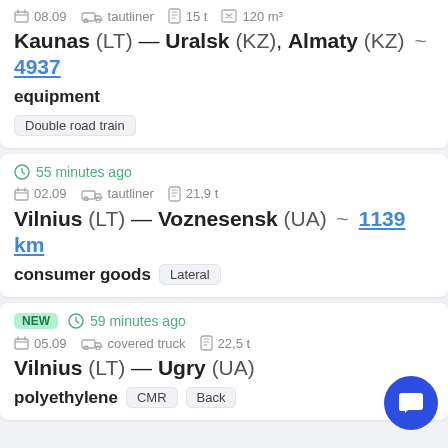08.09 tautliner 15 t 120 m³
Kaunas (LT) — Uralsk (KZ), Almaty (KZ) ~ 4937
equipment
Double road train
55 minutes ago
02.09 tautliner 21,9 t
Vilnius (LT) — Voznesensk (UA) ~ 1139 km
consumer goods Lateral
NEW 59 minutes ago
05.09 covered truck 22,5 t
Vilnius (LT) — Ugry (UA)
polyethylene CMR Back